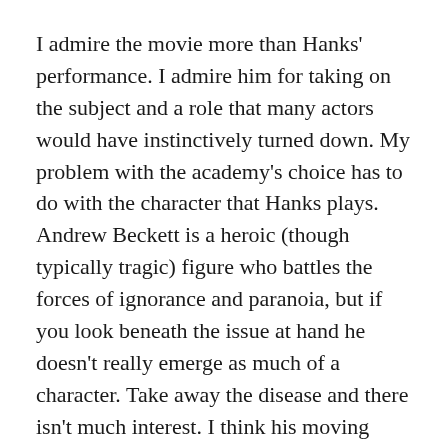I admire the movie more than Hanks' performance. I admire him for taking on the subject and a role that many actors would have instinctively turned down. My problem with the academy's choice has to do with the character that Hanks plays. Andrew Beckett is a heroic (though typically tragic) figure who battles the forces of ignorance and paranoia, but if you look beneath the issue at hand he doesn't really emerge as much of a character. Take away the disease and there isn't much interest. I think his moving three minute acceptance speech was 100 times better than anything he achieves in the movie.
Philadelphia turned Hanks from a light comedian into a respected dramatic actor, but I think that his best work (and another Oscar) were still ahead of him. The actors who were nominated for Best Actor of 1993 played tough, hard-bitten characters facing